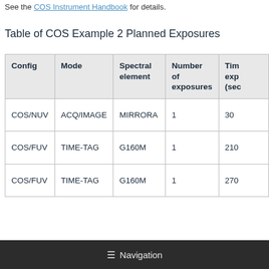See the COS Instrument Handbook for details.
Table of COS Example 2 Planned Exposures
| Config | Mode | Spectral element | Number of exposures | Time per exposure (sec… |
| --- | --- | --- | --- | --- |
| COS/NUV | ACQ/IMAGE | MIRRORA | 1 | 30 |
| COS/FUV | TIME-TAG | G160M | 1 | 210 |
| COS/FUV | TIME-TAG | G160M | 1 | 270 |
≡ Navigation